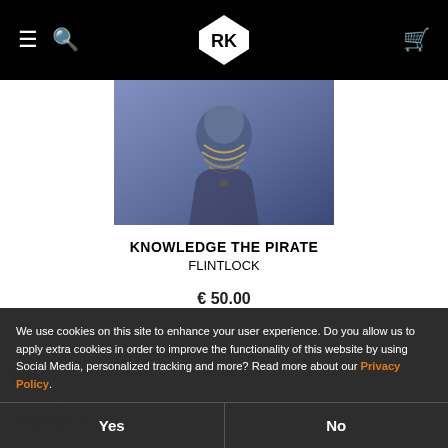Navigation bar with hamburger menu, search icon, logo, cart icon
[Figure (photo): Product photo showing a person wearing gold chains/necklaces, blue-tinted lighting]
KNOWLEDGE THE PIRATE
FLINTLOCK
€ 50.00
We
Cookies & Privacy
Shipping & Su...
We use cookies on this site to enhance your user experience. Do you allow us to apply extra cookies in order to improve the functionality of this website by using Social Media, personalized tracking and more? Read more about our Privacy Policy.
Yes
No
General Contact